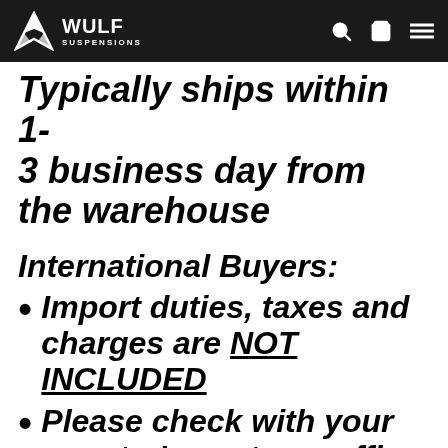WULF SUSPENSIONS
Typically ships within 1-3 business day from the warehouse
International Buyers:
Import duties, taxes and charges are NOT INCLUDED
Please check with your country's customs office to determine what additional costs will be prior to bidding or buying